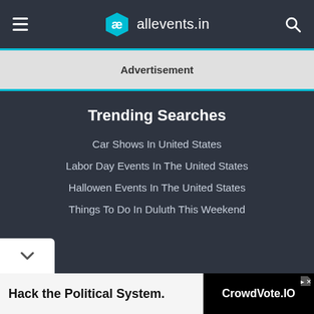ae allevents.in
Advertisement
Trending Searches
Car Shows In United States
Labor Day Events In The United States
Hallowen Events In The United States
Things To Do In Duluth This Weekend
Hack the Political System.
CrowdVote.IO